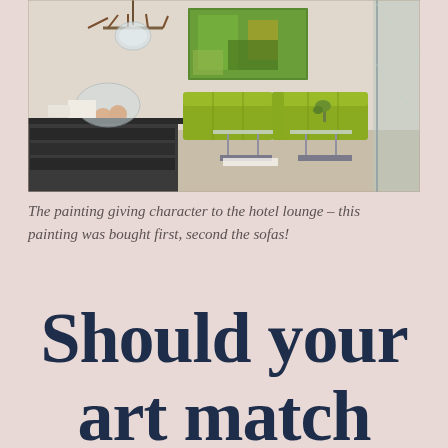[Figure (photo): Interior of a hotel lounge with lime-green sofas, glass tables, a chandelier, a large green abstract painting on the wall, and a buffet table in the foreground.]
The painting giving character to the hotel lounge – this painting was bought first, second the sofas!
Should your art match your